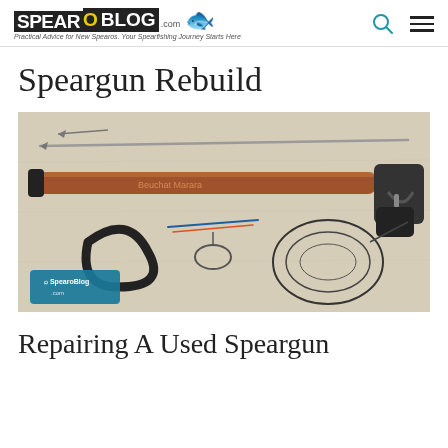SPEARO BLOG .com — Practical Advice for New Spearos. Your Spearfishing Journey Starts Here
Speargun Rebuild
[Figure (photo): Photo of a speargun laid out on a white cloth alongside spear shafts, rubber bands/slings, and fishing line. A SpearoBlog logo watermark appears in the lower left corner of the image.]
Repairing A Used Speargun